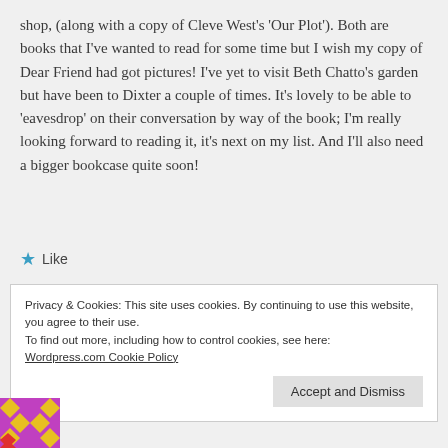shop, (along with a copy of Cleve West's 'Our Plot'). Both are books that I've wanted to read for some time but I wish my copy of Dear Friend had got pictures! I've yet to visit Beth Chatto's garden but have been to Dixter a couple of times. It's lovely to be able to 'eavesdrop' on their conversation by way of the book; I'm really looking forward to reading it, it's next on my list. And I'll also need a bigger bookcase quite soon!
★ Like
Privacy & Cookies: This site uses cookies. By continuing to use this website, you agree to their use.
To find out more, including how to control cookies, see here:
Wordpress.com Cookie Policy
Accept and Dismiss